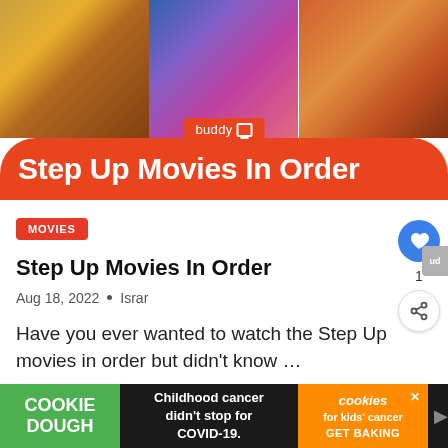[Figure (photo): Hero banner image showing Step Up movie collage with dancers, overlaid with buddy tv logo and red rounded banner reading 'Step Up Movies In Order']
MOVIES
Step Up Movies In Order
Aug 18, 2022  •  Israr
Have you ever wanted to watch the Step Up movies in order but didn't know …
[Figure (other): Advertisement banner: Cookie Dough (green), 'Childhood cancer didn't stop for COVID-19.', cookies for kids' cancer GET BAKING]